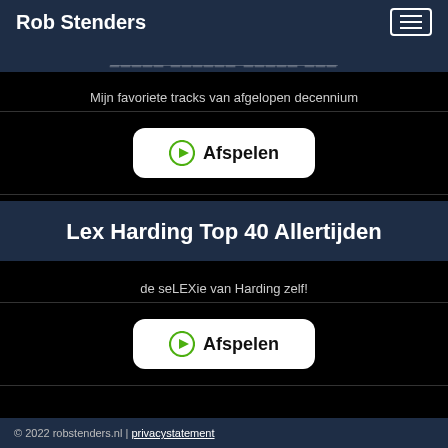Rob Stenders
[Figure (screenshot): Partially visible banner strip with faded text (website header image/banner)]
Mijn favoriete tracks van afgelopen decennium
[Figure (other): Afspelen (Play) button with green play icon]
Lex Harding Top 40 Allertijden
de seLEXie van Harding zelf!
[Figure (other): Afspelen (Play) button with green play icon]
© 2022 robstenders.nl | privacystatement